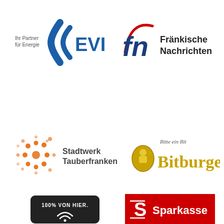[Figure (logo): EVI Energieversorgung logo — blue parenthesis/wave shape with text 'EVI' in bold and small text 'Ihr Partner für Energie']
[Figure (logo): Fränkische Nachrichten logo — 'fn' letters in red/blue arc with text 'Fränkische Nachrichten']
[Figure (logo): Stadtwerk Tauberfranken logo — orange starburst/sun graphic with text 'Stadtwerk Tauberfranken']
[Figure (logo): Bitburger beer logo — gold oval with person illustration and 'Bitburger' in gold gothic lettering, 'Bitte ein Bit' script above]
[Figure (logo): 100% Von Hier logo — black rounded rectangle with '100% VON HIER.' text and wifi/signal icon]
[Figure (logo): Sparkasse logo — red background with white S-symbol and 'Sparkasse' text in white]